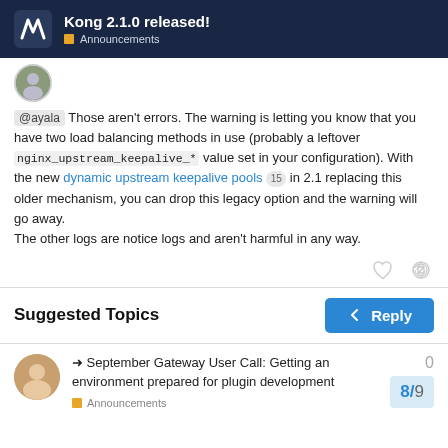Kong 2.1.0 released! Announcements
@ayala Those aren't errors. The warning is letting you know that you have two load balancing methods in use (probably a leftover nginx_upstream_keepalive_* value set in your configuration). With the new dynamic upstream keepalive pools 15 in 2.1 replacing this older mechanism, you can drop this legacy option and the warning will go away.
The other logs are notice logs and aren't harmful in any way.
Suggested Topics
➜ September Gateway User Call: Getting an environment prepared for plugin development
Announcements
0
8 / 9